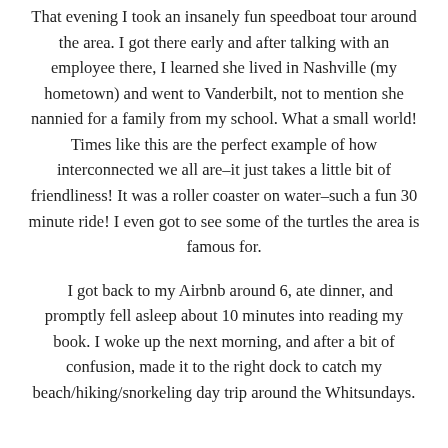That evening I took an insanely fun speedboat tour around the area. I got there early and after talking with an employee there, I learned she lived in Nashville (my hometown) and went to Vanderbilt, not to mention she nannied for a family from my school. What a small world! Times like this are the perfect example of how interconnected we all are–it just takes a little bit of friendliness! It was a roller coaster on water–such a fun 30 minute ride! I even got to see some of the turtles the area is famous for.
I got back to my Airbnb around 6, ate dinner, and promptly fell asleep about 10 minutes into reading my book. I woke up the next morning, and after a bit of confusion, made it to the right dock to catch my beach/hiking/snorkeling day trip around the Whitsundays.